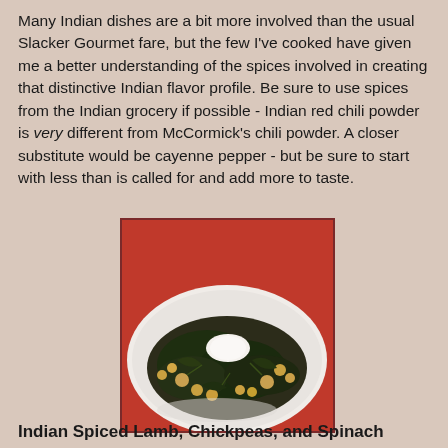Many Indian dishes are a bit more involved than the usual Slacker Gourmet fare, but the few I've cooked have given me a better understanding of the spices involved in creating that distinctive Indian flavor profile. Be sure to use spices from the Indian grocery if possible - Indian red chili powder is very different from McCormick's chili powder. A closer substitute would be cayenne pepper - but be sure to start with less than is called for and add more to taste.
[Figure (photo): A plate of Indian Spiced Lamb, Chickpeas, and Spinach dish, showing dark green spinach mixed with chickpeas and meat, topped with a dollop of white yogurt or cream, served on a white plate with a red background.]
Indian Spiced Lamb, Chickpeas, and Spinach